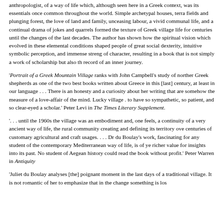anthropologist, of a way of life which, although seen here in a Greek context, was its essentials once common throughout the world. Simple archetypal houses, terra fields and plunging forest, the love of land and family, unceasing labour, a vivid communal life, and a continual drama of jokes and quarrels formed the texture of Greek village life for centuries until the changes of the last decades. The author has shown how the spiritual vision which evolved in these elemental conditions shaped people of great social dexterity, intuitive symbolic perception, and immense streng of character, resulting in a book that is not simply a work of scholarship but also th record of an inner journey.
'Portrait of a Greek Mountain Village ranks with John Campbell's study of northern Greek shepherds as one of the two best books written about Greece in this [last] century, at least in our language . . . There is an honesty and a curiosity about her writing that are somehow the measure of a love-affair of the mind. Lucky village . to have so sympathetic, so patient, and so clear-eyed a scholar.' Peter Levi in The Times Literary Supplement.
'. . . until the 1960s the village was an embodiment and, one feels, a continuity of a very ancient way of life, the rural community creating and defining its territory ove centuries of customary agricultural and craft usages. . . . Dr du Boulay's work, fascinating for any student of the contemporary Mediterranean way of life, is of ye richer value for insights into its past. No student of Aegean history could read the book without profit.' Peter Warren in Antiquity
'Juliet du Boulay analyses [the] poignant moment in the last days of a traditional village. It is not romantic of her to emphasize that in the change something is los